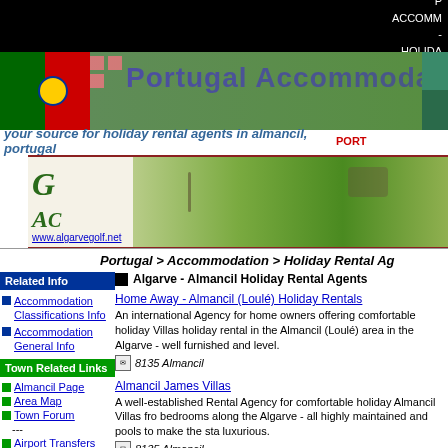P
ACCOMM
-
HOLIDA
[Figure (logo): Portugal Accommodation banner with Portuguese flag and green background]
your source for holiday rental agents in almancil, portugal
[Figure (photo): Algarve Golf ad banner with GAC logo and golf course photo, www.algarvegolf.net]
Portugal > Accommodation > Holiday Rental Ag...
Related Info
Accommodation Classifications Info
Accommodation General Info
Town Related Links
Almancil Page
Area Map
Town Forum
Airport Transfers
Builders
Algarve - Almancil Holiday Rental Agents
Home Away - Almancil (Loulé) Holiday Rentals
An international Agency for home owners offering comfortable holiday Villas holiday rental in the Almancil (Loulé) area in the Algarve - well furnished and level.
8135 Almancil
Almancil James Villas
A well-established Rental Agency for comfortable holiday Almancil Villas from bedrooms along the Algarve - all highly maintained and pools to make the sta luxurious.
8135 Almancil